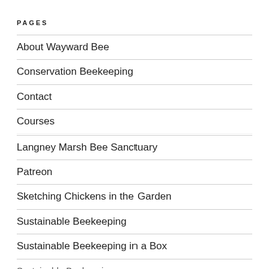PAGES
About Wayward Bee
Conservation Beekeeping
Contact
Courses
Langney Marsh Bee Sanctuary
Patreon
Sketching Chickens in the Garden
Sustainable Beekeeping
Sustainable Beekeeping in a Box
Sustainable Beekeeping…